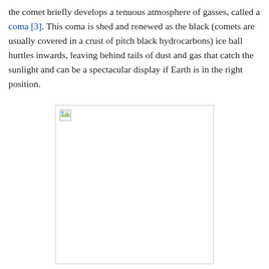the comet briefly develops a tenuous atmosphere of gasses, called a coma [3]. This coma is shed and renewed as the black (comets are usually covered in a crust of pitch black hydrocarbons) ice ball hurtles inwards, leaving behind tails of dust and gas that catch the sunlight and can be a spectacular display if Earth is in the right position.
[Figure (photo): Placeholder image box with broken image icon in top-left corner, white background with light grey border.]